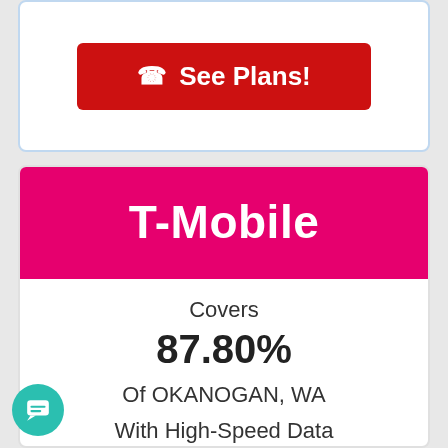[Figure (screenshot): Red 'See Plans!' button with phone icon on a white card with light blue border]
T-Mobile
Covers
87.80%
Of OKANOGAN, WA
With High-Speed Data
And 81.91% Of Okanogan County, WA